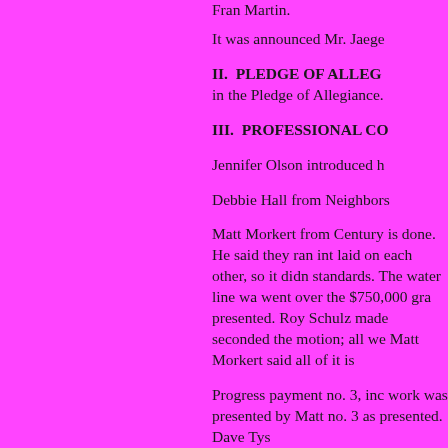Fran Martin.
It was announced Mr. Jaege
II.  PLEDGE OF ALLEG
in the Pledge of Allegiance.
III.  PROFESSIONAL CO
Jennifer Olson introduced h
Debbie Hall from Neighbors
Matt Morkert from Century is done. He said they ran int laid on each other, so it didn standards. The water line wa went over the $750,000 gra presented. Roy Schulz made seconded the motion; all we Matt Morkert said all of it is
Progress payment no. 3, inc work was presented by Matt no. 3 as presented. Dave Tys
Matt Morkert explained the